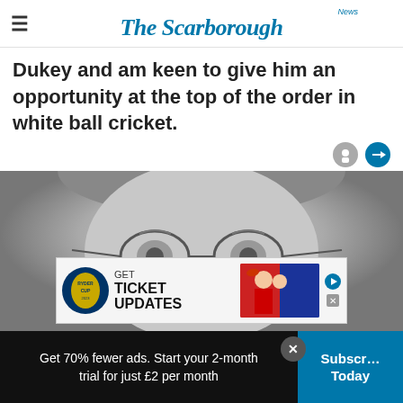The Scarborough News
Dukey and am keen to give him an opportunity at the top of the order in white ball cricket.
[Figure (photo): Close-up black and white photo of a person wearing round eyeglasses]
[Figure (infographic): Advertisement banner: Ryder Cup logo with text GET TICKET UPDATES and image of golfers]
Get 70% fewer ads. Start your 2-month trial for just £2 per month
Subscribe Today